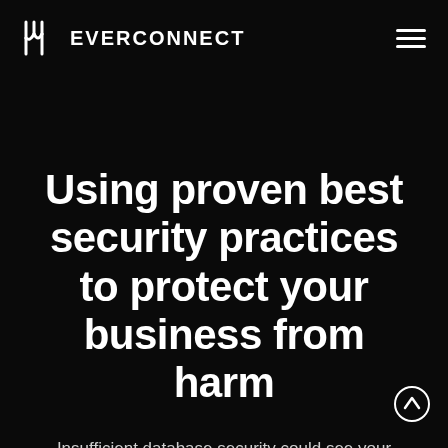EVERCONNECT
Using proven best security practices to protect your business from harm
Insufficient database security could see your organization become a victim of cybercrime – resulting in significant financial loss and damage to your